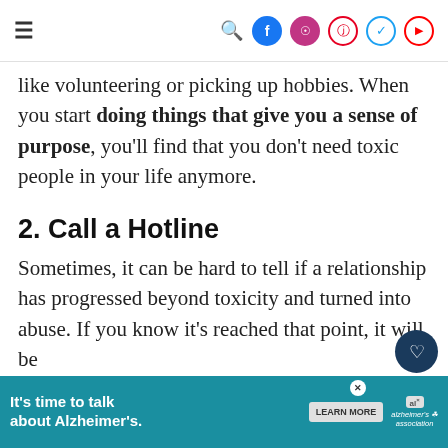Navigation bar with hamburger menu and social icons: search, Facebook, Instagram, Pinterest, Twitter, YouTube
like volunteering or picking up hobbies. When you start doing things that give you a sense of purpose, you'll find that you don't need toxic people in your life anymore.
2. Call a Hotline
Sometimes, it can be hard to tell if a relationship has progressed beyond toxicity and turned into abuse. If you know it's reached that point, it will be
WHAT'S NEXT → 7 Things To Remember...
[Figure (other): Advertisement banner: It's time to talk about Alzheimer's. LEARN MORE button. Alzheimer's Association logo.]